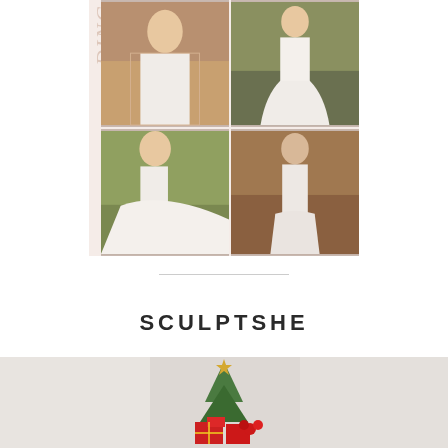[Figure (photo): Wedding dress collage with multiple photos of brides in white gowns in outdoor settings, with 'DING' text overlay]
SCULPTSHE
[Figure (photo): Bottom photo showing Christmas decorations with a star topper, red gift boxes, and festive arrangement on a light background]